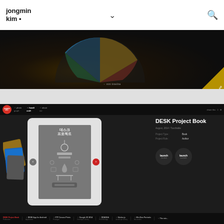jongmin kim •
[Figure (screenshot): Dark banner image with colorful arc/pie chart elements on dark background with a gold badge in bottom-right corner and small text link '→ mini timeline']
[Figure (screenshot): Website screenshot showing jongmin kim portfolio page with inner nav, DESK Project Book project page showing a tablet device displaying Korean 'DESK Project' book design, with stacked cards on the left, navigation arrows, and project info panel on right with title 'DESK Project Book', date 'August, 2014 / Touchable', Project Type: Book, Project Role: Author, and two launch buttons]
DESK Project Book | DESK App for Android | FTF Canvas Prints | Google I/O 2014 | DDANGA | Sticker.js | Min Dew Portraits | → The min...